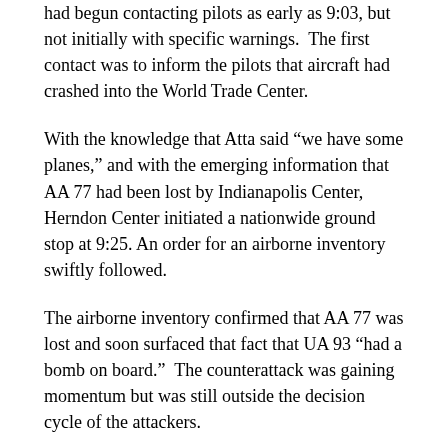had begun contacting pilots as early as 9:03, but not initially with specific warnings. The first contact was to inform the pilots that aircraft had crashed into the World Trade Center.
With the knowledge that Atta said “we have some planes,” and with the emerging information that AA 77 had been lost by Indianapolis Center, Herndon Center initiated a nationwide ground stop at 9:25. An order for an airborne inventory swiftly followed.
The airborne inventory confirmed that AA 77 was lost and soon surfaced that fact that UA 93 “had a bomb on board.”  The counterattack was gaining momentum but was still outside the decision cycle of the attackers.
With the further knowledge that a fast-moving